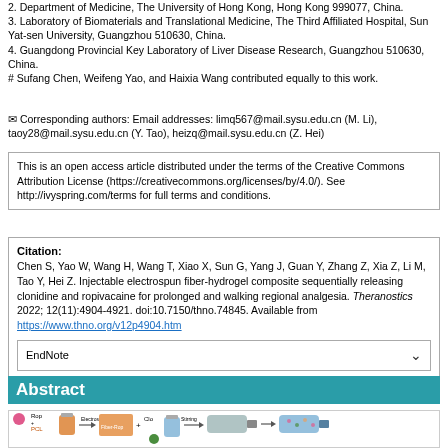2. Department of Medicine, The University of Hong Kong, Hong Kong 999077, China.
3. Laboratory of Biomaterials and Translational Medicine, The Third Affiliated Hospital, Sun Yat-sen University, Guangzhou 510630, China.
4. Guangdong Provincial Key Laboratory of Liver Disease Research, Guangzhou 510630, China.
# Sufang Chen, Weifeng Yao, and Haixia Wang contributed equally to this work.
✉ Corresponding authors: Email addresses: limq567@mail.sysu.edu.cn (M. Li), taoy28@mail.sysu.edu.cn (Y. Tao), heizq@mail.sysu.edu.cn (Z. Hei)
This is an open access article distributed under the terms of the Creative Commons Attribution License (https://creativecommons.org/licenses/by/4.0/). See http://ivyspring.com/terms for full terms and conditions.
Citation: Chen S, Yao W, Wang H, Wang T, Xiao X, Sun G, Yang J, Guan Y, Zhang Z, Xia Z, Li M, Tao Y, Hei Z. Injectable electrospun fiber-hydrogel composite sequentially releasing clonidine and ropivacaine for prolonged and walking regional analgesia. Theranostics 2022; 12(11):4904-4921. doi:10.7150/thno.74845. Available from https://www.thno.org/v12p4904.htm
EndNote
Go  File import instruction
Abstract
[Figure (illustration): Schematic diagram showing injectable electrospun fiber-hydrogel composite preparation process with Rop+PCL and Clo components, electrospinning, Fiber-Rop, stirring steps, and resulting injectable formulation.]